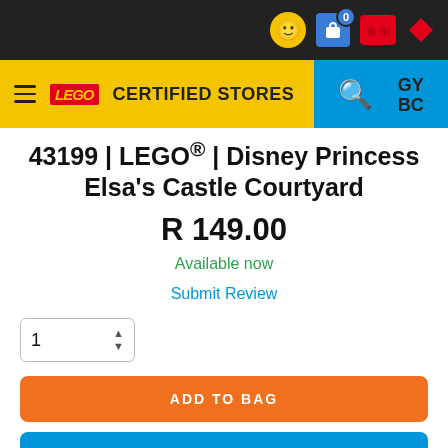[Figure (screenshot): LEGO Certified Stores website navigation bar with yellow and blue sections, hamburger menu, LEGO logo, search icon, and GYBC text]
43199 | LEGO® | Disney Princess Elsa's Castle Courtyard
R 149.00
Available now
Submit Review
1
ADD TO BAG
ADD TO WISH LIST